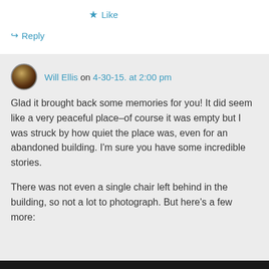★ Like
↪ Reply
Will Ellis on 4-30-15. at 2:00 pm
Glad it brought back some memories for you! It did seem like a very peaceful place–of course it was empty but I was struck by how quiet the place was, even for an abandoned building. I'm sure you have some incredible stories.

There was not even a single chair left behind in the building, so not a lot to photograph. But here's a few more:
[Figure (photo): Dark strip at bottom, partial image of a photo]